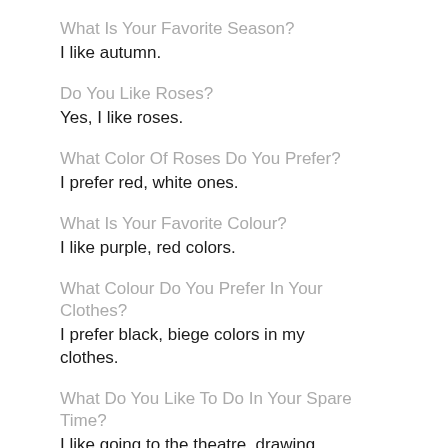What Is Your Favorite Season?
I like autumn.
Do You Like Roses?
Yes, I like roses.
What Color Of Roses Do You Prefer?
I prefer red, white ones.
What Is Your Favorite Colour?
I like purple, red colors.
What Colour Do You Prefer In Your Clothes?
I prefer black, biege colors in my clothes.
What Do You Like To Do In Your Spare Time?
I like going to the theatre, drawing, cooking.